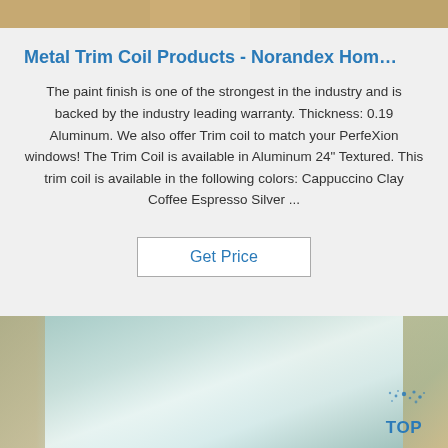[Figure (photo): Partial top image of wooden/metal materials, cropped at top of page]
Metal Trim Coil Products - Norandex Hom…
The paint finish is one of the strongest in the industry and is backed by the industry leading warranty. Thickness: 0.19 Aluminum. We also offer Trim coil to match your PerfeXion windows! The Trim Coil is available in Aluminum 24" Textured. This trim coil is available in the following colors: Cappuccino Clay Coffee Espresso Silver ...
Get Price
[Figure (photo): Photo of aluminum/metal trim coil sheet, silvery metallic surface with brown packaging material on sides, TOP watermark logo in bottom right]